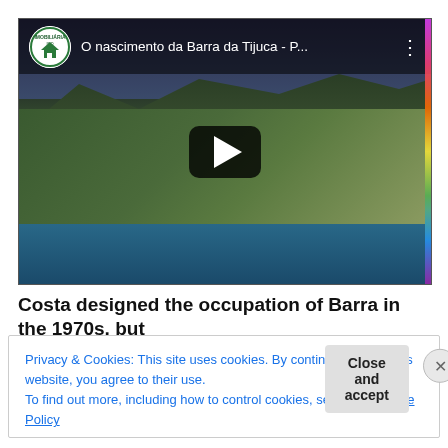[Figure (screenshot): YouTube video embed showing aerial view of Barra da Tijuca coastal area, with channel logo, video title 'O nascimento da Barra da Tijuca - P...' and a play button overlay]
Costa designed the occupation of Barra in the 1970s, but
Privacy & Cookies: This site uses cookies. By continuing to use this website, you agree to their use.
To find out more, including how to control cookies, see here: Cookie Policy
Close and accept